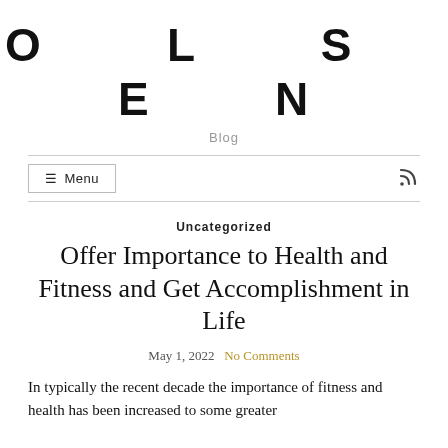OLSEN
Blog
Uncategorized
Offer Importance to Health and Fitness and Get Accomplishment in Life
May 1, 2022  No Comments
In typically the recent decade the importance of fitness and health has been increased to some greater